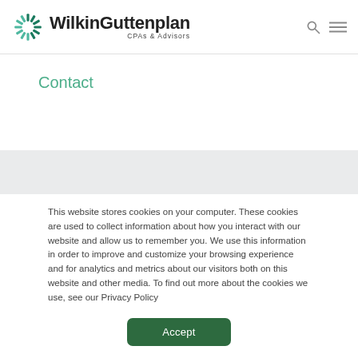WilkinGuttenplan CPAs & Advisors
Contact
This website stores cookies on your computer. These cookies are used to collect information about how you interact with our website and allow us to remember you. We use this information in order to improve and customize your browsing experience and for analytics and metrics about our visitors both on this website and other media. To find out more about the cookies we use, see our Privacy Policy
Accept